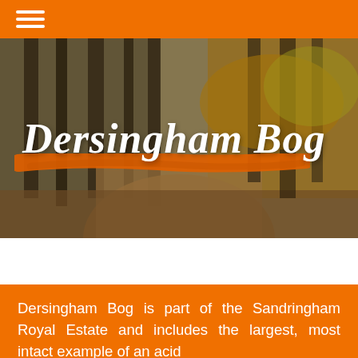[Figure (photo): Autumn forest path with tall trees and orange/yellow foliage as hero background image]
Dersingham Bog
Dersingham Bog is part of the Sandringham Royal Estate and includes the largest, most intact example of an acid